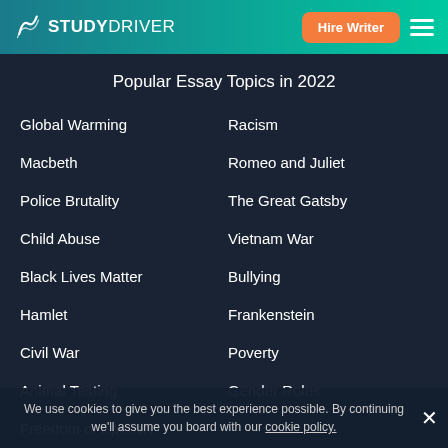STUDYDRIVER — Hire Writer
Popular Essay Topics in 2022
Global Warming
Racism
Macbeth
Romeo and Juliet
Police Brutality
The Great Gatsby
Child Abuse
Vietnam War
Black Lives Matter
Bullying
Hamlet
Frankenstein
Civil War
Poverty
Animal Testing
Gender Roles
Freedom of Speech
Slavery
American Revolution
We use cookies to give you the best experience possible. By continuing we'll assume you board with our cookie policy.